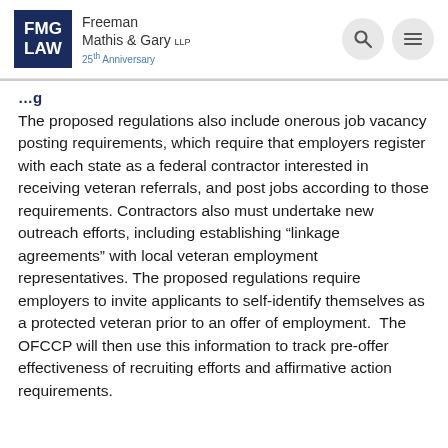FMG LAW | Freeman Mathis & Gary LLP | 25th Anniversary
The proposed regulations also include onerous job vacancy posting requirements, which require that employers register with each state as a federal contractor interested in receiving veteran referrals, and post jobs according to those requirements. Contractors also must undertake new outreach efforts, including establishing “linkage agreements” with local veteran employment representatives. The proposed regulations require employers to invite applicants to self-identify themselves as a protected veteran prior to an offer of employment. The OFCCP will then use this information to track pre-offer effectiveness of recruiting efforts and affirmative action requirements.